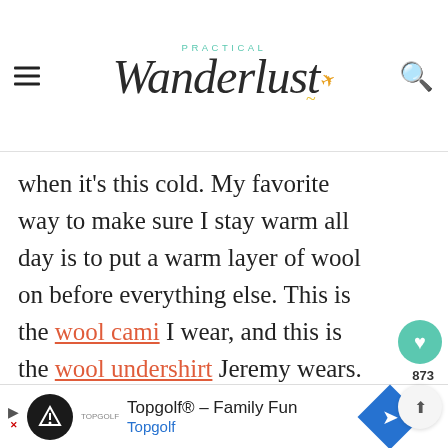Practical Wanderlust
when it's this cold. My favorite way to make sure I stay warm all day is to put a warm layer of wool on before everything else. This is the wool cami I wear, and this is the wool undershirt Jeremy wears.
[Figure (photo): Amsterdam canal street scene with historic brick buildings and bare winter trees, man in a beanie hat in the foreground]
Topgolf® - Family Fun Topgolf